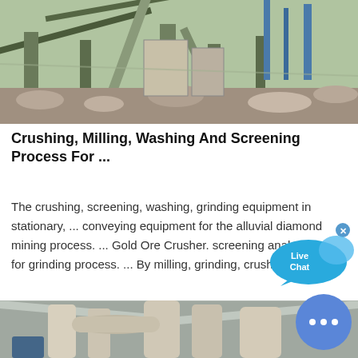[Figure (photo): Aerial/side view of mining crushing and screening equipment on a construction/quarry site with conveyor belts and machinery]
Crushing, Milling, Washing And Screening Process For ...
The crushing, screening, washing, grinding equipment in stationary, ... conveying equipment for the alluvial diamond mining process. ... Gold Ore Crusher. screening analysis for grinding process. ... By milling, grinding, crushing, or
[Figure (photo): Industrial milling machine with white cyclone separators and large pipes inside an industrial warehouse/factory building]